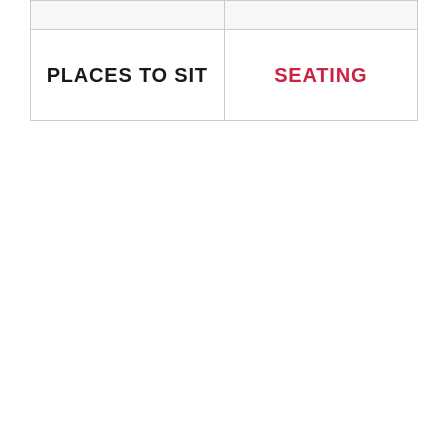|  |  |
| PLACES TO SIT | SEATING |